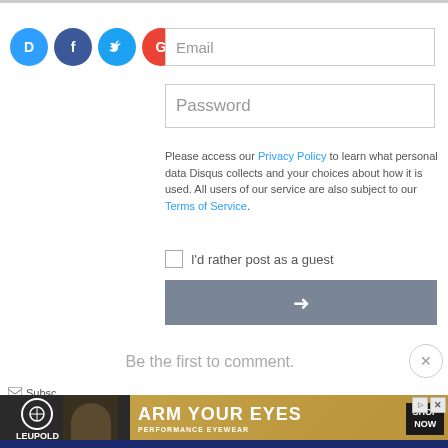[Figure (screenshot): Social login icons: Disqus (blue circle with D), Facebook (dark blue circle with f), Twitter (light blue circle with bird), Google (red circle with G)]
Email
Password
Please access our Privacy Policy to learn what personal data Disqus collects and your choices about how it is used. All users of our service are also subject to our Terms of Service.
I'd rather post as a guest
[Figure (screenshot): Gray submit/arrow-right button]
Be the first to comment.
[Figure (screenshot): Leupold ARM YOUR EYES PERFORMANCE EYEWEAR advertisement banner with shop now button]